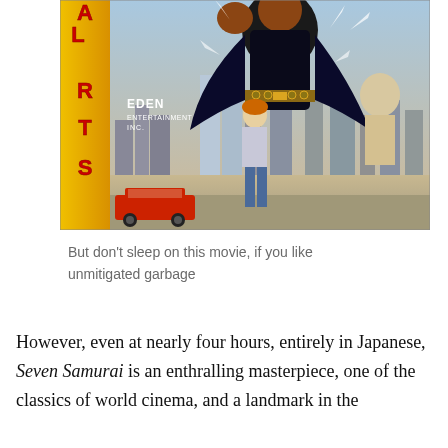[Figure (illustration): Movie poster for a martial arts film showing Eden Entertainment Inc. logo. Features a large muscular figure in black dominating the top, a person in jeans in the middle, a red car and city skyline with tall buildings at the bottom. A yellow vertical sidebar on the left reads 'MARTIAL ARTS' in red stylized letters.]
But don't sleep on this movie, if you like unmitigated garbage
However, even at nearly four hours, entirely in Japanese, Seven Samurai is an enthralling masterpiece, one of the classics of world cinema, and a landmark in the